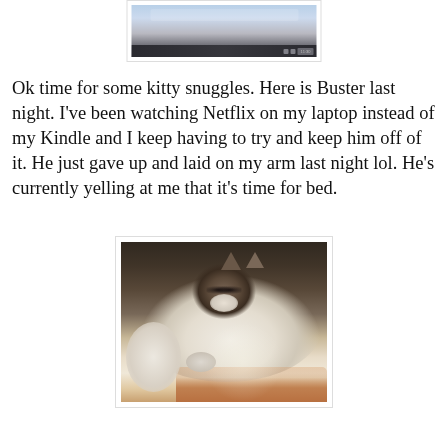[Figure (photo): Partial screenshot of a laptop screen showing a browser or app interface, cropped at the top of the page]
Ok time for some kitty snuggles. Here is Buster last night. I've been watching Netflix on my laptop instead of my Kindle and I keep having to try and keep him off of it. He just gave up and laid on my arm last night lol. He's currently yelling at me that it's time for bed.
[Figure (photo): A fluffy white and grey/brown cat (Buster) sleeping curled up on a person's arm, photographed in low light]